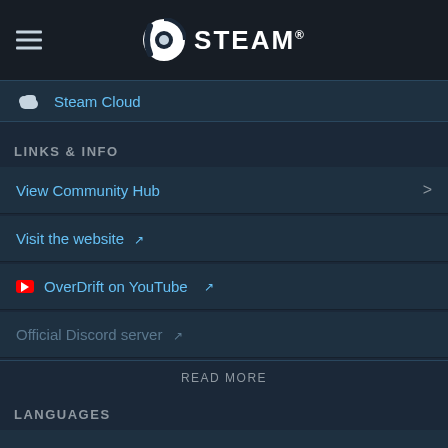STEAM
Steam Cloud
LINKS & INFO
View Community Hub
Visit the website
OverDrift on YouTube
Official Discord server
READ MORE
LANGUAGES
English